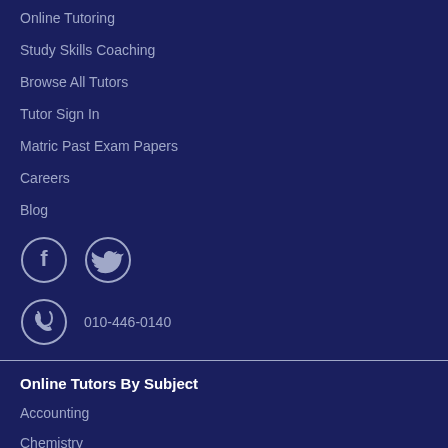Online Tutoring
Study Skills Coaching
Browse All Tutors
Tutor Sign In
Matric Past Exam Papers
Careers
Blog
[Figure (illustration): Facebook and Twitter social media icon circles with white border outlines]
[Figure (illustration): Phone/call icon circle with white border outline, followed by phone number 010-446-0140]
Online Tutors By Subject
Accounting
Chemistry
Economics